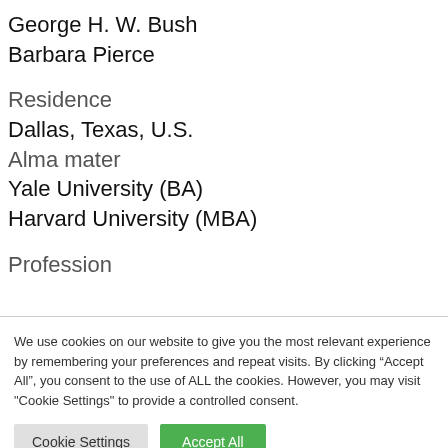George H. W. Bush
Barbara Pierce
Residence
Dallas, Texas, U.S.
Alma mater
Yale University (BA)
Harvard University (MBA)
Profession
We use cookies on our website to give you the most relevant experience by remembering your preferences and repeat visits. By clicking “Accept All”, you consent to the use of ALL the cookies. However, you may visit "Cookie Settings" to provide a controlled consent.
Cookie Settings
Accept All